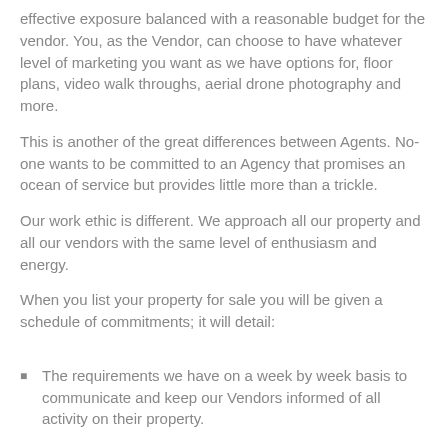effective exposure balanced with a reasonable budget for the vendor. You, as the Vendor, can choose to have whatever level of marketing you want as we have options for, floor plans, video walk throughs, aerial drone photography and more.
This is another of the great differences between Agents. No-one wants to be committed to an Agency that promises an ocean of service but provides little more than a trickle.
Our work ethic is different. We approach all our property and all our vendors with the same level of enthusiasm and energy.
When you list your property for sale you will be given a schedule of commitments; it will detail:
The requirements we have on a week by week basis to communicate and keep our Vendors informed of all activity on their property.
Your on-line and guaranteed in print advertising schedules.